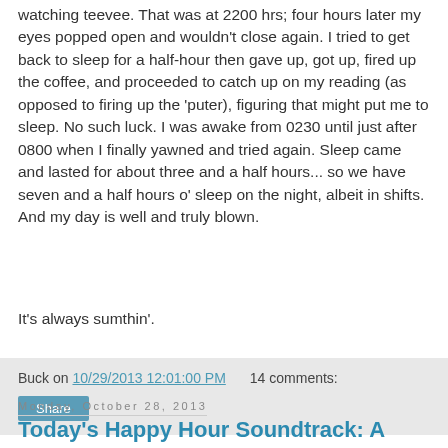watching teevee.  That was at 2200 hrs; four hours later my eyes popped open and wouldn't close again.  I tried to get back to sleep for a half-hour then gave up, got up, fired up the coffee, and proceeded to catch up on my reading (as opposed to firing up the 'puter), figuring that might put me to sleep.  No such luck.  I was awake from 0230 until just after 0800 when I finally yawned and tried again.  Sleep came and lasted for about three and a half hours... so we have seven and a half hours o' sleep on the night, albeit in shifts.  And my day is well and truly blown.
It's always sumthin'.
Buck on 10/29/2013 12:01:00 PM    14 comments:
Share
Monday, October 28, 2013
Today's Happy Hour Soundtrack: A Course Correction